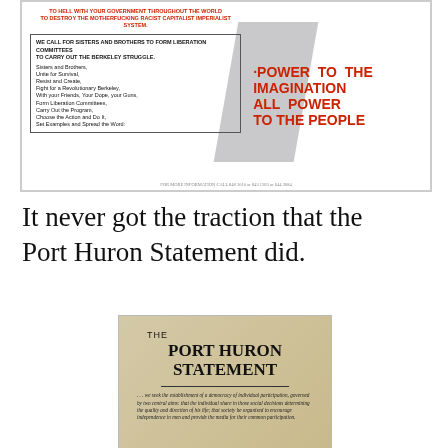[Figure (photo): Photograph of a political poster featuring bold red text reading 'POWER TO THE IMAGINATION ALL POWER TO THE PEOPLE' on the right side, and smaller black text on the left inside a bordered box calling for sisters and brothers to form liberation committees and carry out the Berkeley struggle, with a shadowy figure in the background.]
It never got the traction that the Port Huron Statement did.
[Figure (photo): Photograph of the cover of 'The Port Huron Statement' booklet, a tan/brown pamphlet with bold black text for the title and an italic quote beginning '...we seek the establishment of a democracy of individual participation, governed by two central aims: that the individual share in those social decisions determining the quality and direction of his life; that society be organised to encourage independence...']